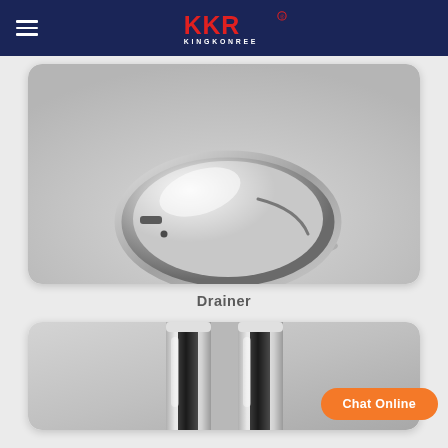KKR KINGKONREE
[Figure (photo): Close-up photo of a round chrome drainer/drain cover on a white surface]
Drainer
[Figure (photo): Close-up photo of a chrome faucet or tap fixture]
Chat Online